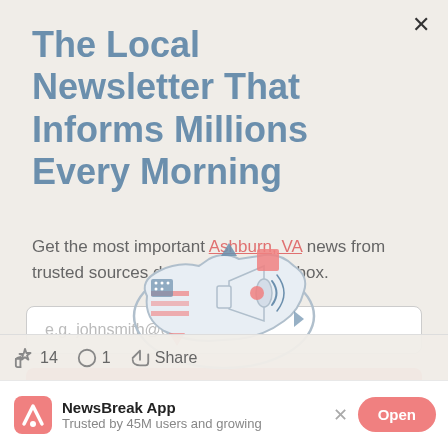The Local Newsletter That Informs Millions Every Morning
Get the most important Ashburn, VA news from trusted sources delivered to your inbox.
[Figure (illustration): Email input field with placeholder text 'e.g. johnsmith@example.com']
[Figure (infographic): Illustration of a US map with megaphone and news icons]
14  1  Share
NewsBreak App
Trusted by 45M users and growing